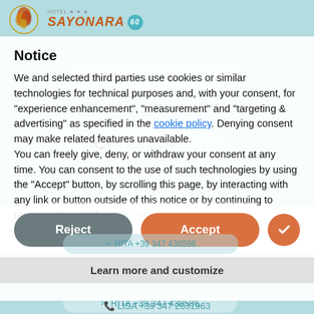[Figure (logo): Hotel Sayonara logo with stylized bird/flower emblem, hotel name in orange italic, 60th anniversary badge in teal, 3 stars]
Notice
We and selected third parties use cookies or similar technologies for technical purposes and, with your consent, for “experience enhancement”, “measurement” and “targeting & advertising” as specified in the cookie policy. Denying consent may make related features unavailable.
You can freely give, deny, or withdraw your consent at any time. You can consent to the use of such technologies by using the “Accept” button, by scrolling this page, by interacting with any link or button outside of this notice or by continuing to browse otherwise.
Reject
Accept
Learn more and customize